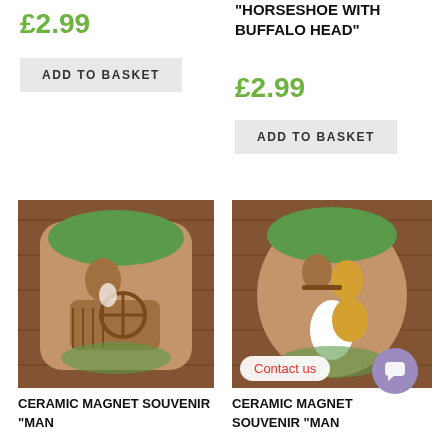£2.99
ADD TO BASKET
"HORSESHOE WITH BUFFALO HEAD"
£2.99
ADD TO BASKET
[Figure (photo): Ceramic magnet souvenir showing a man with a wheel, brown clay with green glaze, on wooden background]
[Figure (photo): Ceramic magnet souvenir showing a man playing flute, brown clay with green and yellow glaze, on wooden background]
Contact us
CERAMIC MAGNET SOUVENIR "MAN
CERAMIC MAGNET SOUVENIR "MAN